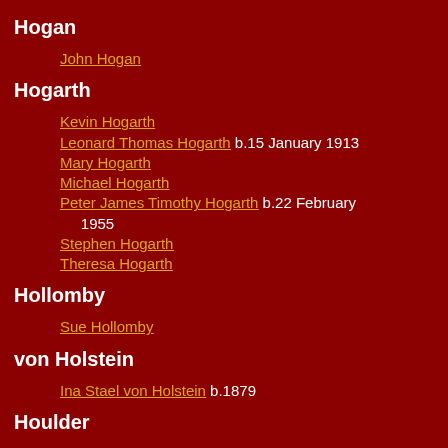Hogan
John Hogan
Hogarth
Kevin Hogarth
Leonard Thomas Hogarth b.15 January 1913
Mary Hogarth
Michael Hogarth
Peter James Timothy Hogarth b.22 February 1955
Stephen Hogarth
Theresa Hogarth
Hollomby
Sue Hollomby
von Holstein
Ina Stael von Holstein b.1879
Houlder